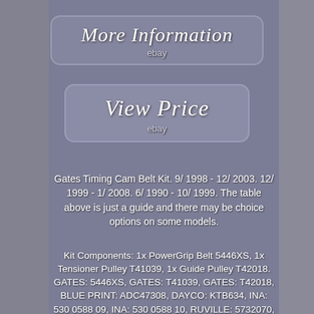[Figure (other): Button with italic serif text 'More Information' and 'ebay' subtitle on rounded rectangle background]
[Figure (other): Button with italic serif text 'View Price' and 'ebay' subtitle on rounded rectangle background]
Gates Timing Cam Belt Kit. 9/ 1998 - 12/ 2003. 12/ 1999 - 1/ 2008. 6/ 1990 - 10/ 1999. The table above is just a guide and there may be choice options on some models.
Kit Components: 1x PowerGrip Belt 5446XS, 1x Tensioner Pulley T41039, 1x Guide Pulley T42018. GATES: 5446XS, GATES: T41039, GATES: T42018, BLUE PRINT: ADC47308, DAYCO: KTB634, INA: 530 0588 09, INA: 530 0588 10, RUVILLE: 5732070, SKF: VKMA 95613.